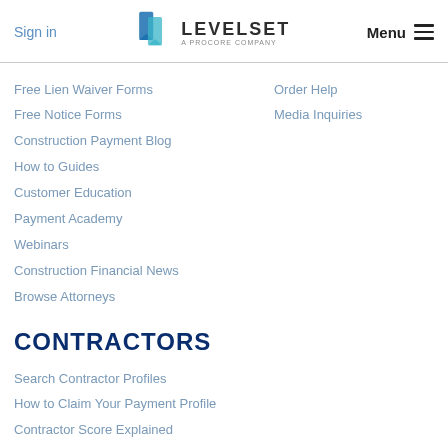Sign in | LEVELSET A PROCORE COMPANY | Menu
Free Lien Waiver Forms
Free Notice Forms
Construction Payment Blog
How to Guides
Customer Education
Payment Academy
Webinars
Construction Financial News
Browse Attorneys
Order Help
Media Inquiries
CONTRACTORS
Search Contractor Profiles
How to Claim Your Payment Profile
Contractor Score Explained